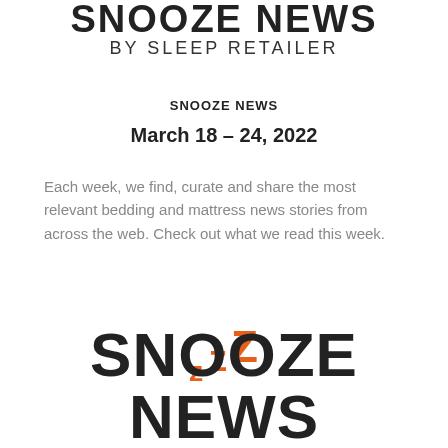SNOOZE NEWS BY SLEEP RETAILER
SNOOZE NEWS
March 18 – 24, 2022
Each week, we find, curate and share the most relevant bedding and mattress news stories from across the web. Check out what we read this week.
[Figure (logo): Snooze News logo with orange ZZZ letters and bold black SNOOZE NEWS text]